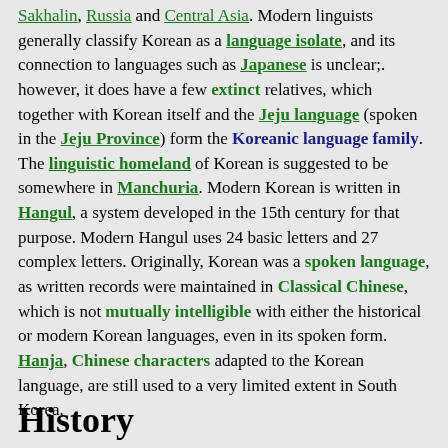Sakhalin, Russia and Central Asia. Modern linguists generally classify Korean as a language isolate, and its connection to languages such as Japanese is unclear;. however, it does have a few extinct relatives, which together with Korean itself and the Jeju language (spoken in the Jeju Province) form the Koreanic language family. The linguistic homeland of Korean is suggested to be somewhere in Manchuria. Modern Korean is written in Hangul, a system developed in the 15th century for that purpose. Modern Hangul uses 24 basic letters and 27 complex letters. Originally, Korean was a spoken language, as written records were maintained in Classical Chinese, which is not mutually intelligible with either the historical or modern Korean languages, even in its spoken form. Hanja, Chinese characters adapted to the Korean language, are still used to a very limited extent in South Korea.
History